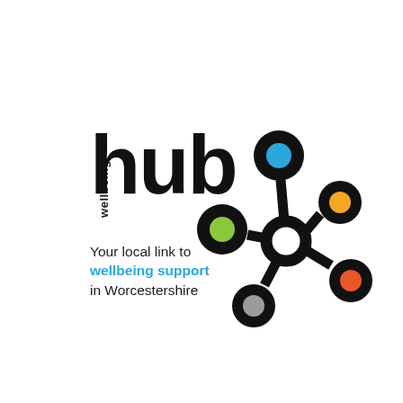[Figure (logo): Wellbeing Hub logo with the word 'wellbeing' in small vertical text, 'hub' in large bold black lowercase letters, a network/molecule diagram with colored dots (blue, yellow, green, grey, orange) connected by thick black lines and a central white ring node, and tagline text 'Your local link to wellbeing support in Worcestershire']